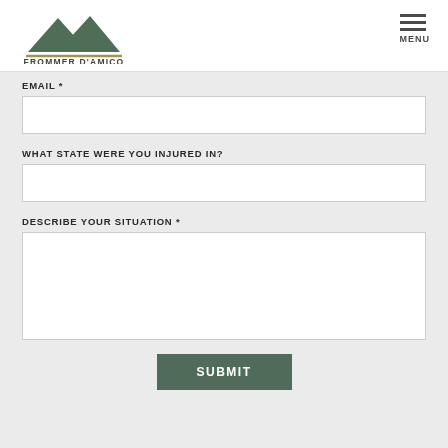[Figure (logo): Frommer D'Amico law firm logo: mountain peaks icon in dark green above gold line, with 'FROMMER D'AMICO' text in dark olive caps]
MENU
EMAIL *
WHAT STATE WERE YOU INJURED IN?
DESCRIBE YOUR SITUATION *
SUBMIT